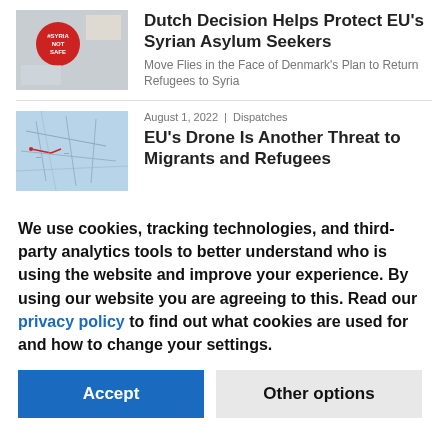[Figure (photo): Red heart-shaped sign with '#SYRIA NOT SAFE' written on it at a protest]
Dutch Decision Helps Protect EU's Syrian Asylum Seekers
Move Flies in the Face of Denmark's Plan to Return Refugees to Syria
August 1, 2022 | Dispatches
[Figure (photo): Light blue background with map lines and red markings, appears to be a navigation or flight map]
EU's Drone Is Another Threat to Migrants and Refugees
We use cookies, tracking technologies, and third-party analytics tools to better understand who is using the website and improve your experience. By using our website you are agreeing to this. Read our privacy policy to find out what cookies are used for and how to change your settings.
Accept
Other options